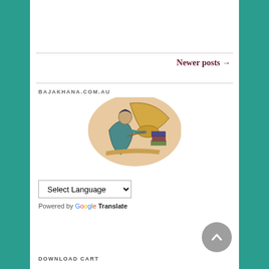Newer posts →
BAJAKHANA.COM.AU
[Figure (illustration): Vintage illustration of a man in blue robes leaning forward and writing or examining something on a surface, with a large horn/gramophone behind him and books stacked to the right.]
Select Language (dropdown)
Powered by Google Translate
DOWNLOAD CART